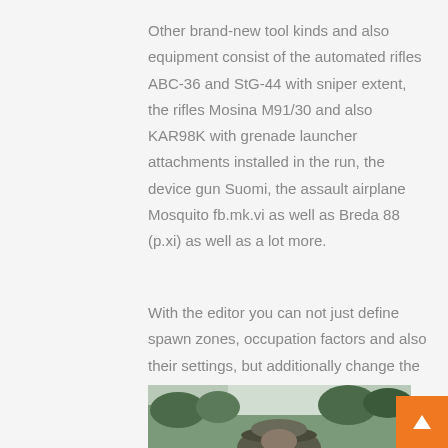Other brand-new tool kinds and also equipment consist of the automated rifles ABC-36 and StG-44 with sniper extent, the rifles Mosina M91/30 and also KAR98K with grenade launcher attachments installed in the run, the device gun Suomi, the assault airplane Mosquito fb.mk.vi as well as Breda 88 (p.xi) as well as a lot more.
With the editor you can not just define spawn zones, occupation factors and also their settings, but additionally change the mission regulations. The self-created missions will be readily available on an unique mod website that goes online at the same time as the update.
[Figure (photo): Partial photo showing a soldier wearing a military hat with trees/foliage in background]